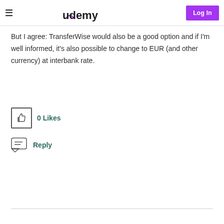Udemy — Log In
But I agree: TransferWise would also be a good option and if I'm well informed, it's also possible to change to EUR (and other currency) at interbank rate.
[Figure (illustration): Thumbs up like button box with 0 Likes label]
[Figure (illustration): Chat/reply icon with Reply label]